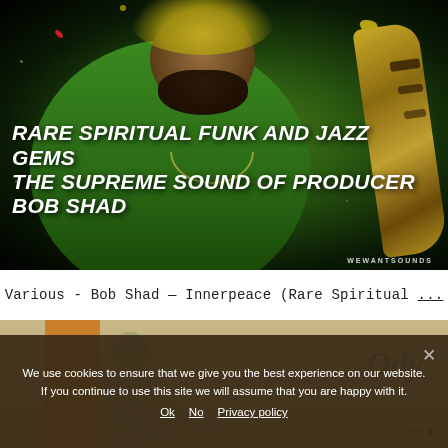[Figure (illustration): Album cover artwork showing a man holding a saxophone against a dark background with colorful paint splatters. White bold italic text reads 'RARE SPIRITUAL FUNK AND JAZZ GEMS / THE SUPREME SOUND OF PRODUCER BOB SHAD'. WEWANTSOUNDS watermark at bottom right.]
Various - Bob Shad — Innerpeace (Rare Spiritual ...
[Figure (screenshot): Partial view of a website page showing a decorative illustration with a figure and the text 'Ody' and 'TOP' badge.]
We use cookies to ensure that we give you the best experience on our website. If you continue to use this site we will assume that you are happy with it.
Ok   No   Privacy policy